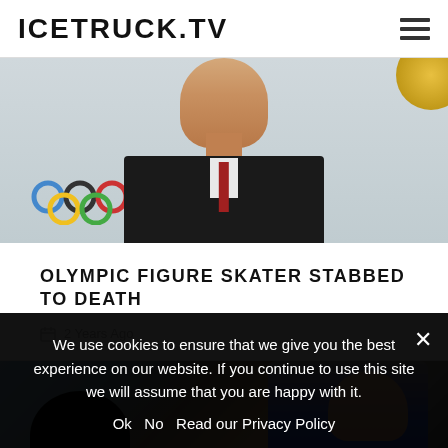ICETRUCK.TV
[Figure (photo): Photo of a person in a dark suit in front of Olympic rings backdrop, with a gold circular element in top-right corner]
OLYMPIC FIGURE SKATER STABBED TO DEATH
2 Years Ago
[Figure (photo): Photo of two people, one wearing a blue shirt, partially visible]
We use cookies to ensure that we give you the best experience on our website. If you continue to use this site we will assume that you are happy with it.
Ok  No  Read our Privacy Policy